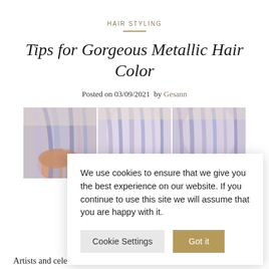HAIR STYLING
Tips for Gorgeous Metallic Hair Color
Posted on 03/09/2021  by Gesann
[Figure (photo): Three-panel photo strip showing a person with long metallic purple/silver hair in various angles]
We use cookies to ensure that we give you the best experience on our website. If you continue to use this site we will assume that you are happy with it.
Artists and celebr
patterns, and funky cuts for years. With the help of modern